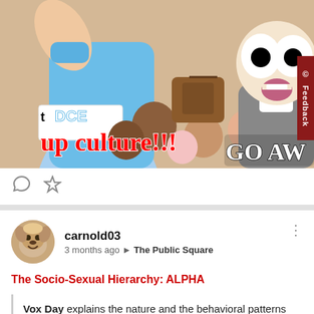[Figure (illustration): Screenshot of a social media post featuring a meme image at the top showing cartoon characters (resembling South Park and Family Guy styles) with text 'up culture!!!' in red bold letters and 'GO AW' on the right side. There is a red 'Feedback' tab on the right edge. Below the meme are action icons (speech bubble and star).]
carnold03
3 months ago ▶ The Public Square
The Socio-Sexual Hierarchy: ALPHA
Vox Day explains the nature and the behavioral patterns of the highest rank of the male socio-